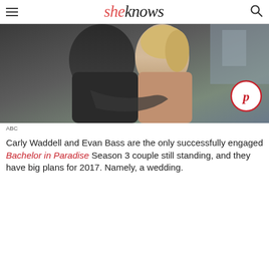sheknows
[Figure (photo): A couple embracing, seen from behind. The person on the left wears a dark shirt; the person on the right has blonde hair. A Pinterest button overlay is visible in the bottom-right corner of the image.]
ABC
Carly Waddell and Evan Bass are the only successfully engaged Bachelor in Paradise Season 3 couple still standing, and they have big plans for 2017. Namely, a wedding.